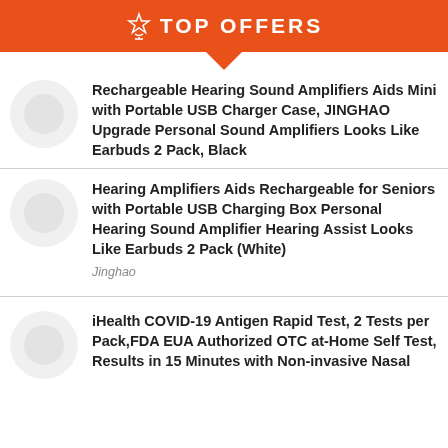TOP OFFERS
Rechargeable Hearing Sound Amplifiers Aids Mini with Portable USB Charger Case, JINGHAO Upgrade Personal Sound Amplifiers Looks Like Earbuds 2 Pack, Black
Hearing Amplifiers Aids Rechargeable for Seniors with Portable USB Charging Box Personal Hearing Sound Amplifier Hearing Assist Looks Like Earbuds 2 Pack (White)
Jinghao
iHealth COVID-19 Antigen Rapid Test, 2 Tests per Pack,FDA EUA Authorized OTC at-Home Self Test, Results in 15 Minutes with Non-invasive Nasal